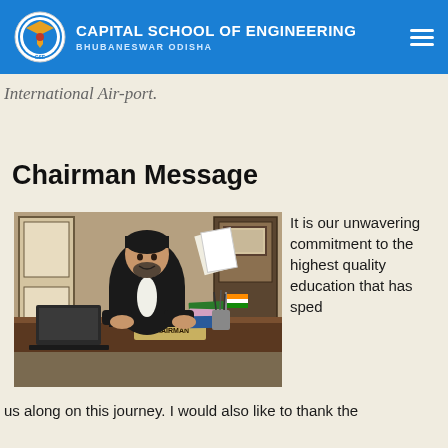CAPITAL SCHOOL OF ENGINEERING BHUBANESWAR ODISHA
International Air-port.
Chairman Message
[Figure (photo): Chairman seated at a desk with a nameplate reading CHAIRMAN, laptop, books, and Indian flag on the desk, dark wood-paneled background.]
It is our unwavering commitment to the highest quality education that has sped us along on this journey. I would also like to thank the